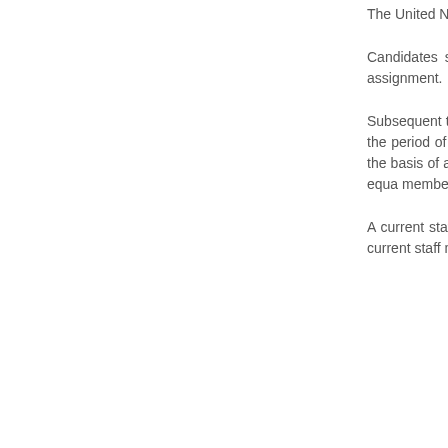The United Nations Secretariat is committed to a strongly encouraged to apply for this position.
Candidates should have no expectation of any assignment. If the selected candidate is an internal s temporary assignment.
Subsequent to the initial temporary appointment, service in the same office or in a different office any does not exceed the period of 364 calendar days. U termination of, or resignation from, a fixed-term, c ineligible for re-employment on the basis of a temp the case of separation from service on retirement, a of three months following the separation. This equa member who has held or holds an appointment in a and who applies for a temporary position with the Se
A current staff member who holds a fixed-term, per no more than one level above his or her current gra However, a current staff member who holds an app in the Professional category up to and including the the position.